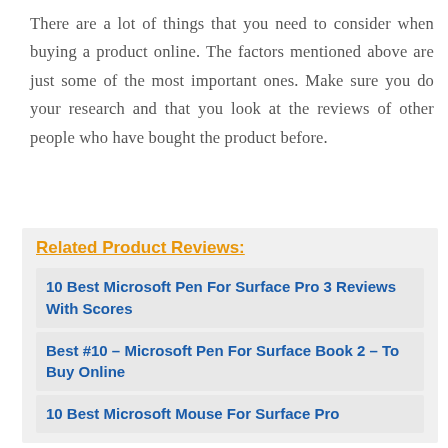There are a lot of things that you need to consider when buying a product online. The factors mentioned above are just some of the most important ones. Make sure you do your research and that you look at the reviews of other people who have bought the product before.
Related Product Reviews:
10 Best Microsoft Pen For Surface Pro 3 Reviews With Scores
Best #10 – Microsoft Pen For Surface Book 2 – To Buy Online
10 Best Microsoft Mouse For Surface Pro